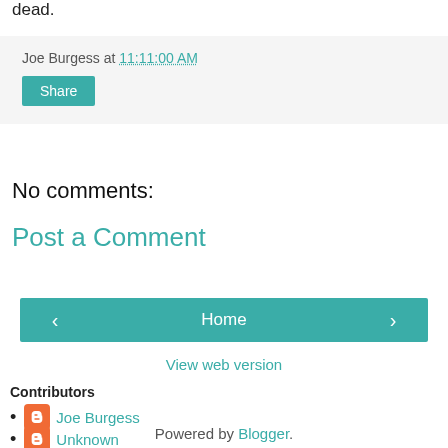dead.
Joe Burgess at 11:11:00 AM
Share
No comments:
Post a Comment
‹  Home  ›
View web version
Contributors
Joe Burgess
Unknown
Powered by Blogger.